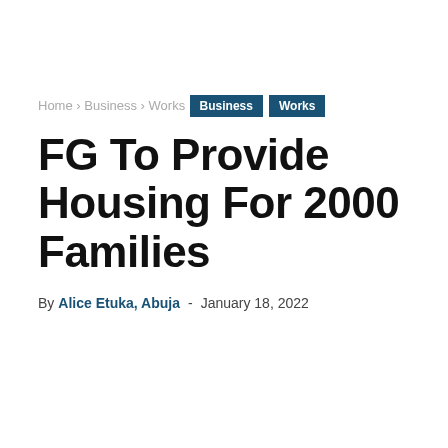Home › Business › Works
Business
Works
FG To Provide Housing For 2000 Families
By Alice Etuka, Abuja - January 18, 2022